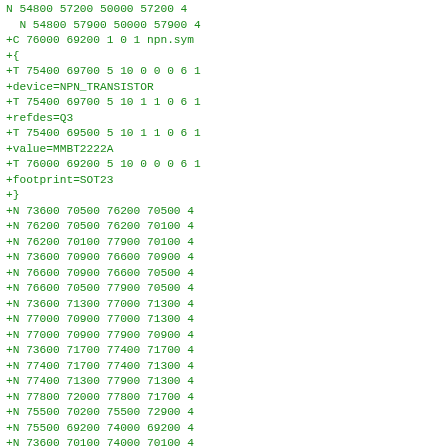N 54800 57200 50000 57200 4
  N 54800 57900 50000 57900 4
+C 76000 69200 1 0 1 npn.sym
+{
+T 75400 69700 5 10 0 0 0 6 1
+device=NPN_TRANSISTOR
+T 75400 69700 5 10 1 1 0 6 1
+refdes=Q3
+T 75400 69500 5 10 1 1 0 6 1
+value=MMBT2222A
+T 76000 69200 5 10 0 0 0 6 1
+footprint=SOT23
+}
+N 73600 70500 76200 70500 4
+N 76200 70500 76200 70100 4
+N 76200 70100 77900 70100 4
+N 73600 70900 76600 70900 4
+N 76600 70900 76600 70500 4
+N 76600 70500 77900 70500 4
+N 73600 71300 77000 71300 4
+N 77000 70900 77000 71300 4
+N 77000 70900 77900 70900 4
+N 73600 71700 77400 71700 4
+N 77400 71700 77400 71300 4
+N 77400 71300 77900 71300 4
+N 77800 72000 77800 71700 4
+N 75500 70200 75500 72900 4
+N 75500 69200 74000 69200 4
+N 73600 70100 74000 70100 4
+N 74000 70100 74000 69200 4
+N 73600 69300 74000 69300 4
+C 48700 60600 1 0 0 nc-right.sym
+{